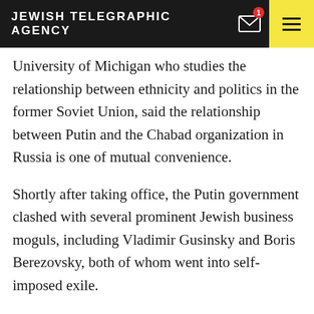JEWISH TELEGRAPHIC AGENCY
University of Michigan who studies the relationship between ethnicity and politics in the former Soviet Union, said the relationship between Putin and the Chabad organization in Russia is one of mutual convenience.
Shortly after taking office, the Putin government clashed with several prominent Jewish business moguls, including Vladimir Gusinsky and Boris Berezovsky, both of whom went into self-imposed exile.
“When he went after these oligarchs, Putin sensed that this could be interpreted as anti-Semitism,” Gitelman